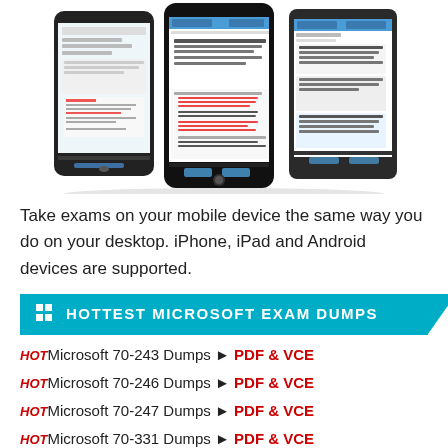[Figure (photo): Three mobile devices (Android phone, iPhone, Windows Phone) showing exam question interfaces with multiple choice questions and answer options.]
Take exams on your mobile device the same way you do on your desktop. iPhone, iPad and Android devices are supported.
HOTTEST MICROSOFT EXAM DUMPS
HOT Microsoft 70-243 Dumps ► PDF & VCE
HOT Microsoft 70-246 Dumps ► PDF & VCE
HOT Microsoft 70-247 Dumps ► PDF & VCE
HOT Microsoft 70-331 Dumps ► PDF & VCE
HOT Microsoft 70-332 Dumps ► PDF & VCE